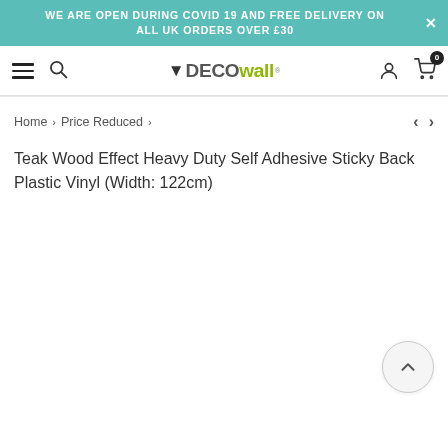WE ARE OPEN DURING COVID 19 AND FREE DELIVERY ON ALL UK ORDERS OVER £30
[Figure (logo): DECOwall logo with drop icon and registered trademark symbol]
Home > Price Reduced >
Teak Wood Effect Heavy Duty Self Adhesive Sticky Back Plastic Vinyl (Width: 122cm)